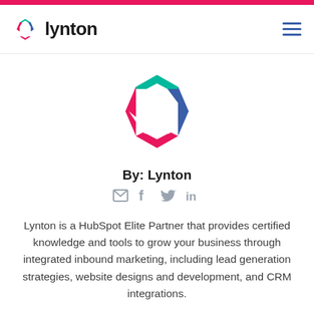lynton
[Figure (logo): Lynton hexagon logo mark — colorful hexagon shape with teal top, blue right, pink/magenta bottom-left sections]
By: Lynton
[Figure (infographic): Social media icons: email (envelope), Facebook (f), Twitter (bird), LinkedIn (in)]
Lynton is a HubSpot Elite Partner that provides certified knowledge and tools to grow your business through integrated inbound marketing, including lead generation strategies, website designs and development, and CRM integrations.